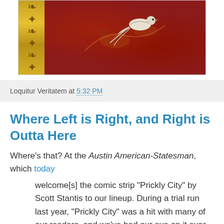[Figure (photo): Decorative image with gold ornamental left panel and deep red background with floral/bird motif on the right]
Loquitur Veritatem at 5:32 PM
Where Left is Right, and Right is Outta Here
Where's that? At the Austin American-Statesman, which today
welcome[s] the comic strip "Prickly City" by Scott Stantis to our lineup. During a trial run last year, "Prickly City" was a hit with many of our readers, and we've had our eye on it ever since. Like "Mallard Fillmore," which it replaces, "Prickly City" is a conservative social and political strip, but with a little more levity.